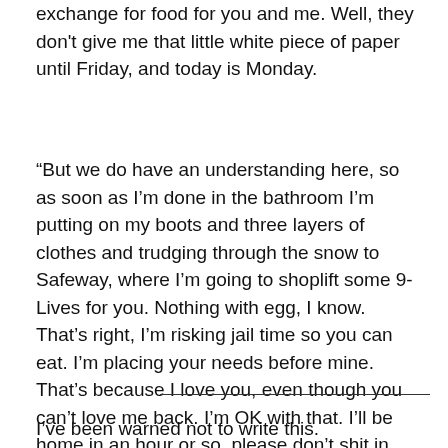exchange for food for you and me. Well, they don't give me that little white piece of paper until Friday, and today is Monday.
“But we do have an understanding here, so as soon as I’m done in the bathroom I’m putting on my boots and three layers of clothes and trudging through the snow to Safeway, where I’m going to shoplift some 9-Lives for you. Nothing with egg, I know. That’s right, I’m risking jail time so you can eat. I’m placing your needs before mine. That’s because I love you, even though you can’t love me back. I’m OK with that. I’ll be home in an hour or so, please don’t shit in my headphones.”
I’ve been warned not to write this.